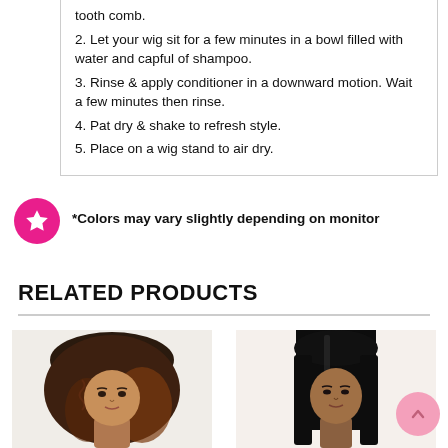tooth comb.
2. Let your wig sit for a few minutes in a bowl filled with water and capful of shampoo.
3. Rinse & apply conditioner in a downward motion. Wait a few minutes then rinse.
4. Pat dry & shake to refresh style.
5. Place on a wig stand to air dry.
*Colors may vary slightly depending on monitor
RELATED PRODUCTS
[Figure (photo): Two product photos side by side: left shows a woman with curly brown ombre wig; right shows a woman with straight black hair wig.]